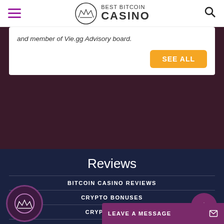Best Bitcoin Casino
and member of Vie.gg Advisory board.
SEE ALL
Reviews
BITCOIN CASINO REVIEWS
CRYPTO BONUSES
CRYPTO GAMES
SOFTWARE PR...